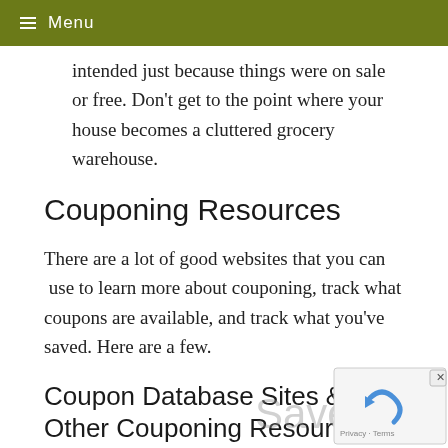≡ Menu
intended just because things were on sale or free. Don't get to the point where your house becomes a cluttered grocery warehouse.
Couponing Resources
There are a lot of good websites that you can use to learn more about couponing, track what coupons are available, and track what you've saved. Here are a few.
Coupon Database Sites & Other Couponing Resources
Pocket Your